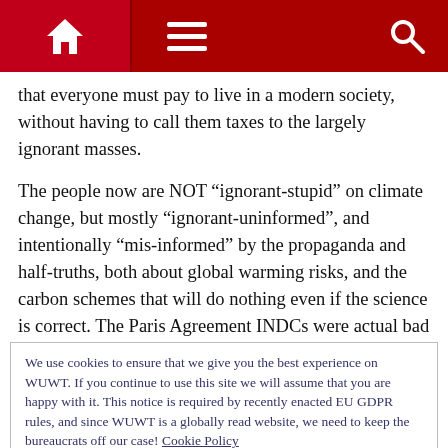WUWT navigation bar with home icon, hamburger menu, and search icon
that everyone must pay to live in a modern society, without having to call them taxes to the largely ignorant masses.
The people now are NOT “ignorant-stupid” on climate change, but mostly “ignorant-uninformed”, and intentionally “mis-informed” by the propaganda and half-truths, both about global warming risks, and the carbon schemes that will do nothing even if the science is correct. The Paris Agreement INDCs were actual bad jokes on rational thinking. Even worse, the Paris Agreement and other COPs processes are
We use cookies to ensure that we give you the best experience on WUWT. If you continue to use this site we will assume that you are happy with it. This notice is required by recently enacted EU GDPR rules, and since WUWT is a globally read website, we need to keep the bureaucrats off our case! Cookie Policy

Close and accept
is information to the masses that must be controlled by